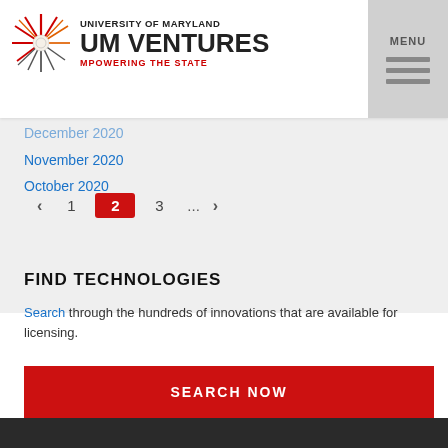University of Maryland UM Ventures - Mpowering the State
December 2020
November 2020
October 2020
Pagination: < 1 2 3 ... >
FIND TECHNOLOGIES
Search through the hundreds of innovations that are available for licensing.
SEARCH NOW